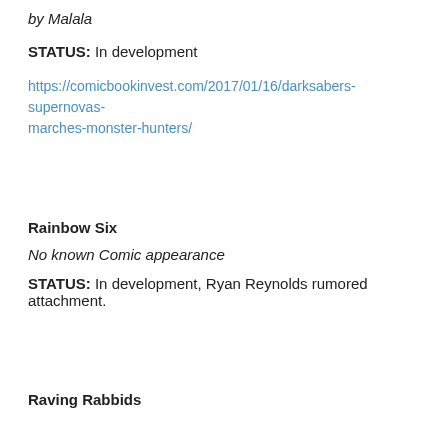by Malala
STATUS: In development
https://comicbookinvest.com/2017/01/16/darksabers-supernovas-marches-monster-hunters/
Rainbow Six
No known Comic appearance
STATUS: In development, Ryan Reynolds rumored attachment.
Raving Rabbids